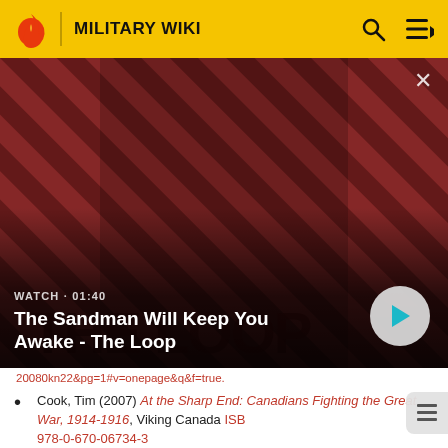MILITARY WIKI
[Figure (screenshot): Video thumbnail showing a dark-clad figure with a raven on shoulder against a red and black diagonal striped background. Text overlay: WATCH · 01:40 / The Sandman Will Keep You Awake - The Loop. Play button on right.]
20080kn22&pg=1#v=onepage&q&f=true.
Cook, Tim (2007) At the Sharp End: Canadians Fighting the Great War, 1914-1916, Viking Canada ISBN 978-0-670-06734-3
Cook, Tim (2008) Shock Troops: Canadians Fighting the Great War, 1917-1918, Viking Canada ISBN 978-0-